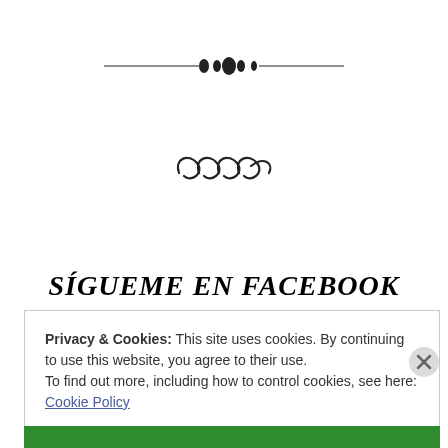[Figure (illustration): Decorative horizontal divider with small diamond/dot ornament in the center, flanked by thin lines]
[Figure (illustration): Decorative swirl/wave ornament]
SÍGUEME EN FACEBOOK
Privacy & Cookies: This site uses cookies. By continuing to use this website, you agree to their use.
To find out more, including how to control cookies, see here: Cookie Policy
Close and accept